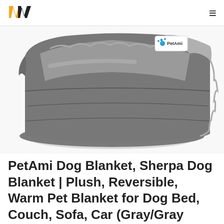W (logo) | hamburger menu
[Figure (photo): Folded gray sherpa dog blanket with a PetAmi branded label tag visible on top right corner. The blanket appears fluffy and thick, folded neatly, photographed on a white background.]
PetAmi Dog Blanket, Sherpa Dog Blanket | Plush, Reversible, Warm Pet Blanket for Dog Bed, Couch, Sofa, Car (Gray/Gray Sherpa 50x40 Inches)